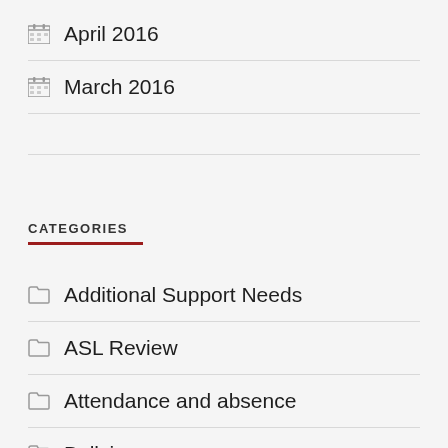April 2016
March 2016
CATEGORIES
Additional Support Needs
ASL Review
Attendance and absence
Bullying